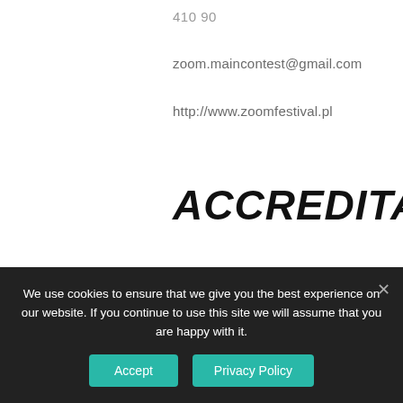410 90
zoom.maincontest@gmail.com
http://www.zoomfestival.pl
ACCREDITATION:
1. During the competition (08 – 13.03.2022) hotel (double rooms, BB), and participation costs in the Festival events for 2 people from each group, whose film
We use cookies to ensure that we give you the best experience on our website. If you continue to use this site we will assume that you are happy with it.